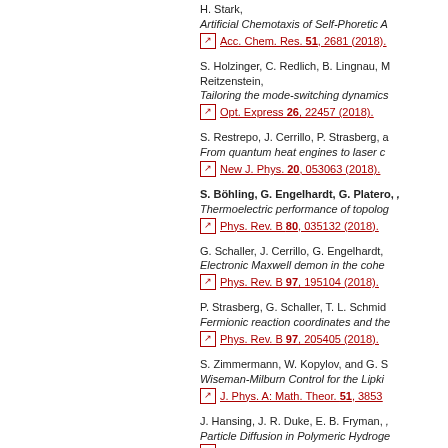H. Stark, Artificial Chemotaxis of Self-Phoretic A… Acc. Chem. Res. 51, 2681 (2018).
S. Holzinger, C. Redlich, B. Lingnau, M… Reitzenstein, Tailoring the mode-switching dynamics… Opt. Express 26, 22457 (2018).
S. Restrepo, J. Cerrillo, P. Strasberg, a… From quantum heat engines to laser c… New J. Phys. 20, 053063 (2018).
S. Böhling, G. Engelhardt, G. Platero, … Thermoelectric performance of topolog… Phys. Rev. B 80, 035132 (2018).
G. Schaller, J. Cerrillo, G. Engelhardt, … Electronic Maxwell demon in the coher… Phys. Rev. B 97, 195104 (2018).
P. Strasberg, G. Schaller, T. L. Schmid… Fermionic reaction coordinates and the… Phys. Rev. B 97, 205405 (2018).
S. Zimmermann, W. Kopylov, and G. S… Wiseman-Milburn Control for the Lipki… J. Phys. A: Math. Theor. 51, 3853…
J. Hansing, J. R. Duke, E. B. Fryman, … Particle Diffusion in Polymeric Hydroge… Nano Lett. 18, 5248 (2018).